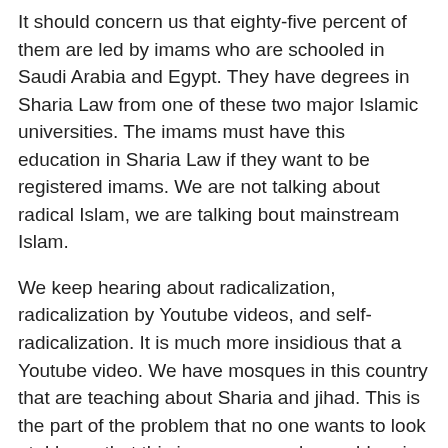It should concern us that eighty-five percent of them are led by imams who are schooled in Saudi Arabia and Egypt. They have degrees in Sharia Law from one of these two major Islamic universities. The imams must have this education in Sharia Law if they want to be registered imams. We are not talking about radical Islam, we are talking bout mainstream Islam.
We keep hearing about radicalization, radicalization by Youtube videos, and self-radicalization. It is much more insidious that a Youtube video. We have mosques in this country that are teaching about Sharia and jihad. This is the part of the problem that no one wants to look at. I know that this is a very complex problem in a country like America where we have freedom of religion. We have to have evidence, we can't just go around raiding mosques. This would set a precedent that would allow them to raid our churches.